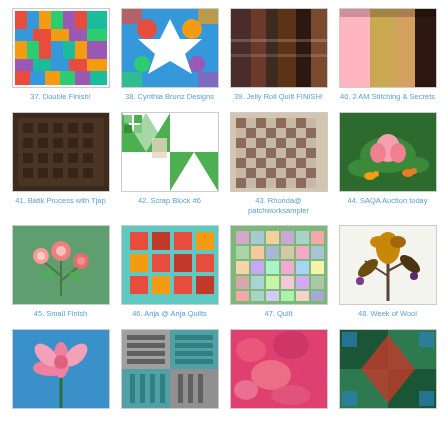[Figure (photo): Quilt thumbnail #37 - colorful woven/basket weave pattern]
37. Double Finish!
[Figure (photo): Quilt thumbnail #38 - bright floral and star pattern]
38. Cynthia Brunz Designs
[Figure (photo): Quilt thumbnail #39 - jelly roll quilt dark tones]
39. Jelly Roll Quilt FINISH!
[Figure (photo): Quilt thumbnail #40 - fabric strips pink/gold/dark]
40. 2 AM Stitching & Secrets
[Figure (photo): Quilt thumbnail #41 - dark batik texture]
41. Batik Process with Tjap
[Figure (photo): Quilt thumbnail #42 - green and white flying geese/pinwheel blocks]
42. Scrap Block #6
[Figure (photo): Quilt thumbnail #43 - checkerboard/postage stamp pattern]
43. Rhonda@ patchworksampler
[Figure (photo): Quilt thumbnail #44 - green with lotus/lily pond applique]
44. SAQA Auction today
[Figure (photo): Quilt thumbnail #45 - floral applique on green]
45. Small Finish
[Figure (photo): Quilt thumbnail #46 - red/orange squares on teal]
46. Anja @ Anja Quilts
[Figure (photo): Quilt thumbnail #47 - pastel patchwork squares]
47. Quilt
[Figure (photo): Quilt thumbnail #48 - wool applique tulip/flower on white]
48. Week of Wool
[Figure (photo): Quilt thumbnail #49 - pink flower applique on blue]
[Figure (photo): Quilt thumbnail #50 - grey/teal stripe blocks]
[Figure (photo): Quilt thumbnail #51 - pink/red batik]
[Figure (photo): Quilt thumbnail #52 - dark teal/blue geometric]